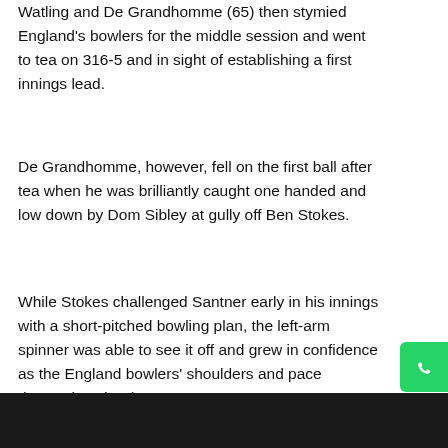Watling and De Grandhomme (65) then stymied England's bowlers for the middle session and went to tea on 316-5 and in sight of establishing a first innings lead.
De Grandhomme, however, fell on the first ball after tea when he was brilliantly caught one handed and low down by Dom Sibley at gully off Ben Stokes.
While Stokes challenged Santner early in his innings with a short-pitched bowling plan, the left-arm spinner was able to see it off and grew in confidence as the England bowlers' shoulders and pace dropped as the day wore on.
Read in App
Live Tv